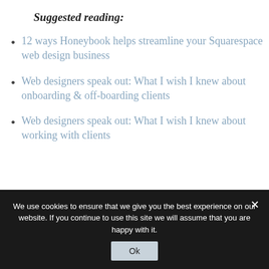Suggested reading:
12 ways Honeybook helps streamline your Squarespace web design business
Web designers speak out: What I wish I knew about onboarding & off-boarding clients
Web designers speak out: What I wish I knew about working with clients
We use cookies to ensure that we give you the best experience on our website. If you continue to use this site we will assume that you are happy with it.